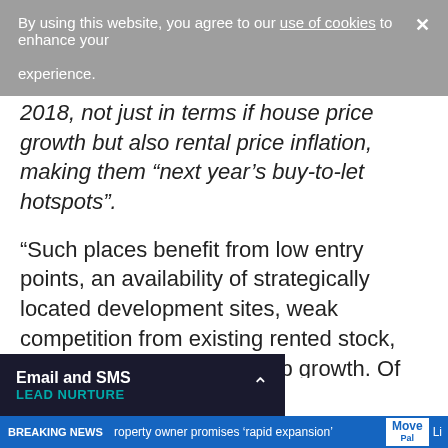By using this website, you agree to our use of cookies to enhance your experience.
2018, not just in terms if house price growth but also rental price inflation, making them “next year’s buy-to-let hotspots”.
“Such places benefit from low entry points, an availability of strategically located development sites, weak competition from existing rented stock, and the promise of catch-up growth. Of course, they must always exhibit the classic market drivers as well: an uptick in jobs and population, new regeneration or infrastructure ...ctors.”
Email and SMS
LEAD NURTURE
BREAKING NEWS  roperty owner promises ‘rapid expansion’  MovePal  Li